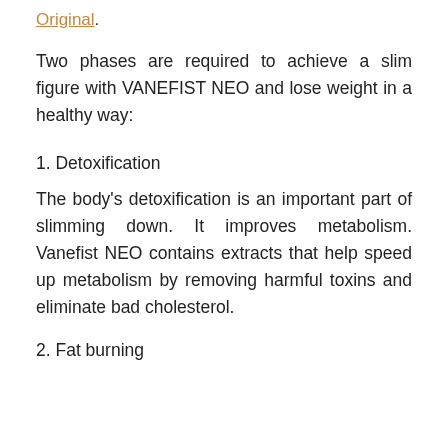Original.
Two phases are required to achieve a slim figure with VANEFIST NEO and lose weight in a healthy way:
1. Detoxification
The body's detoxification is an important part of slimming down. It improves metabolism. Vanefist NEO contains extracts that help speed up metabolism by removing harmful toxins and eliminate bad cholesterol.
2. Fat burning